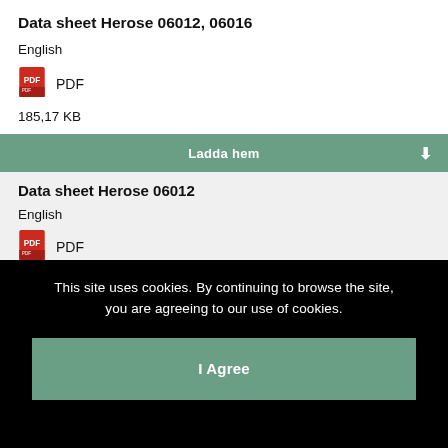Data sheet Herose 06012, 06016
English
[Figure (logo): Red PDF icon]
PDF
185,17 KB
Ladda hem
Data sheet Herose 06012
English
[Figure (logo): Red PDF icon]
PDF
This site uses cookies. By continuing to browse the site, you are agreeing to our use of cookies.
I Agree